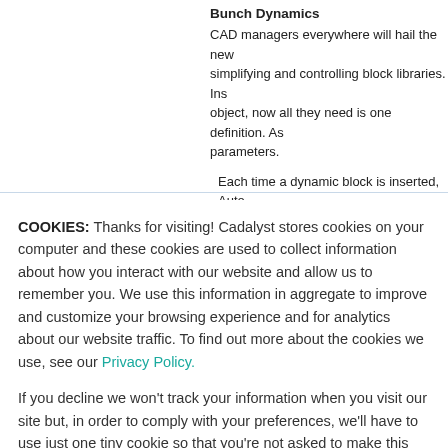Bunch Dynamics
CAD managers everywhere will hail the new simplifying and controlling block libraries. Ins object, now all they need is one definition. As parameters.
Each time a dynamic block is inserted, Auto to supply appropriate values for those param quantities of an array. Allowable values can to specific values as desired.
When all the information is supplied, the bl
COOKIES: Thanks for visiting! Cadalyst stores cookies on your computer and these cookies are used to collect information about how you interact with our website and allow us to remember you. We use this information in aggregate to improve and customize your browsing experience and for analytics about our website traffic. To find out more about the cookies we use, see our Privacy Policy.
If you decline we won't track your information when you visit our site but, in order to comply with your preferences, we'll have to use just one tiny cookie so that you're not asked to make this choice again.